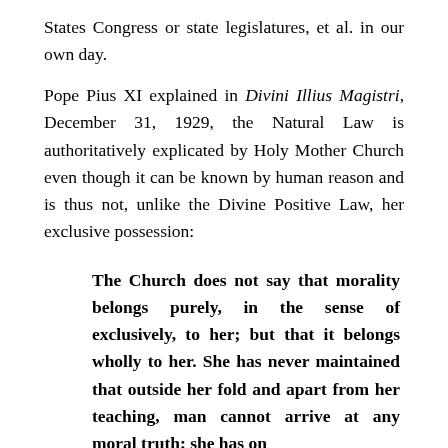States Congress or state legislatures, et al. in our own day.
Pope Pius XI explained in Divini Illius Magistri, December 31, 1929, the Natural Law is authoritatively explicated by Holy Mother Church even though it can be known by human reason and is thus not, unlike the Divine Positive Law, her exclusive possession:
The Church does not say that morality belongs purely, in the sense of exclusively, to her; but that it belongs wholly to her. She has never maintained that outside her fold and apart from her teaching, man cannot arrive at any moral truth; she has on